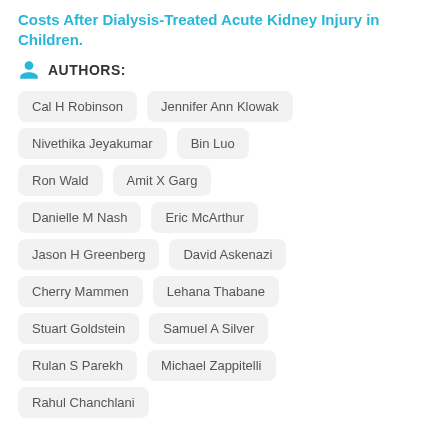Costs After Dialysis-Treated Acute Kidney Injury in Children.
AUTHORS:
Cal H Robinson
Jennifer Ann Klowak
Nivethika Jeyakumar
Bin Luo
Ron Wald
Amit X Garg
Danielle M Nash
Eric McArthur
Jason H Greenberg
David Askenazi
Cherry Mammen
Lehana Thabane
Stuart Goldstein
Samuel A Silver
Rulan S Parekh
Michael Zappitelli
Rahul Chanchlani